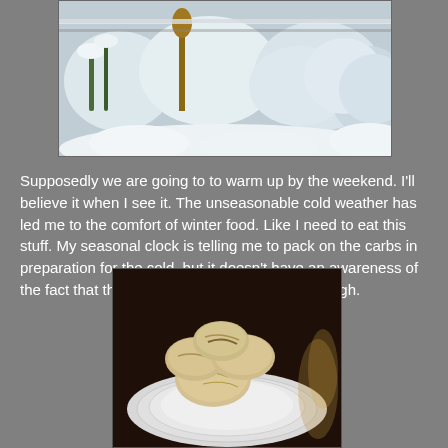[Figure (photo): Snow-covered garden with plants and bushes heavily laden with snow, fencing visible in background]
Supposedly we are going to to warm up by the weekend. I'll believe it when I see it. The unseasonable cold weather has led me to the comfort of winter food. Like I need to eat this stuff. My seasonal clock is telling me to pack on the carbs in preparation for the cold, but it doesn't have an awareness of the fact that the pounds are already there. Big sigh.
[Figure (photo): Biscuits or rolls piled on a white ribbed plate, photographed close up]